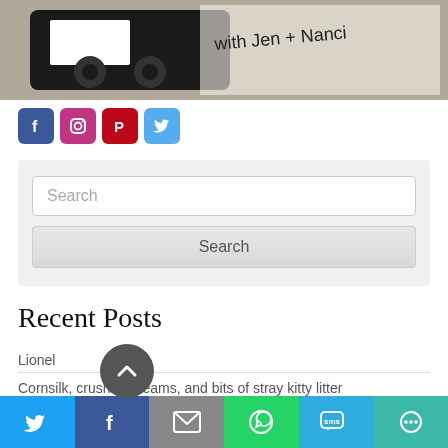[Figure (photo): Top banner photo showing a VHS tape / craft item with handwritten text 'with Jen + Nanci']
[Figure (infographic): Row of four social media icon buttons: Facebook (blue), Instagram (rainbow), Pinterest (red), Twitter (light blue)]
[Figure (screenshot): Search box area with gray background, white text input field labeled 'Search', and a gray Search button below]
Recent Posts
Lionel
Cornsilk, crushed dreams, and bits of stray kitty litter
Living a life you don't need a vacation from
[Figure (infographic): Bottom share bar with Twitter, Facebook, Email, WhatsApp, SMS, and More sharing buttons in colored segments]